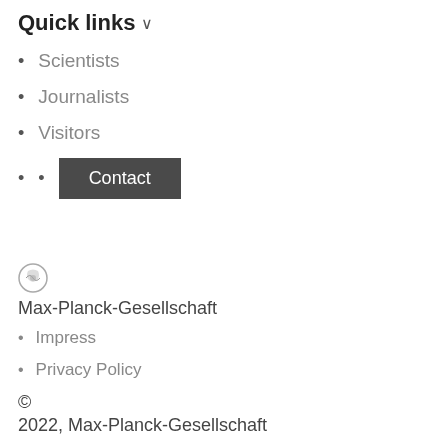Quick links ∨
Scientists
Journalists
Visitors
Contact
[Figure (logo): Max-Planck-Gesellschaft circular logo icon]
Max-Planck-Gesellschaft
Impress
Privacy Policy
©
2022, Max-Planck-Gesellschaft